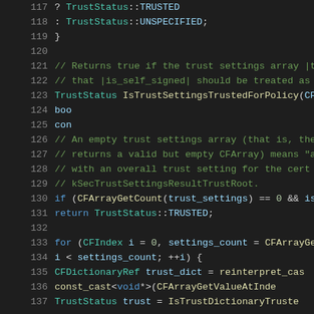[Figure (screenshot): C++ source code editor view showing lines 117-137, with syntax highlighting. Dark background theme. Line numbers in grey on left. Code shows TrustStatus enum values, IsTrustSettingsTrustedForPolicy function declaration, comment blocks, CFArrayGetCount conditional, return statement, and for-loop with CFDictionaryRef.]